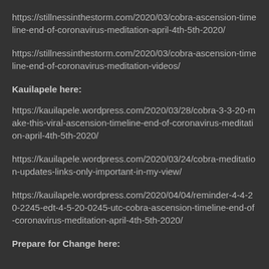https://stillnessinthestorm.com/2020/03/cobra-ascension-timeline-end-of-coronavirus-meditation-april-4th-5th-2020/
https://stillnessinthestorm.com/2020/03/cobra-ascension-timeline-end-of-coronavirus-meditation-videos/
Kauilapele here:
https://kauilapele.wordpress.com/2020/03/28/cobra-3-3-20-make-this-viral-ascension-timeline-end-of-coronavirus-meditation-april-4th-5th-2020/
https://kauilapele.wordpress.com/2020/03/24/cobra-meditation-updates-links-only-important-in-my-view/
https://kauilapele.wordpress.com/2020/04/04/reminder-4-4-20-2245-edt-4-5-20-0245-utc-cobra-ascension-timeline-end-of-coronavirus-meditation-april-4th-5th-2020/
Prepare for Change here: